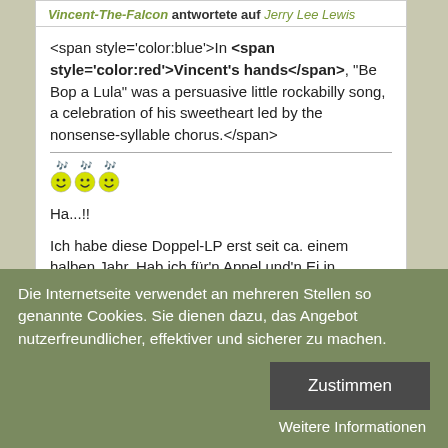Vincent-The-Falcon antwortete auf Jerry Lee Lewis
<span style='color:blue'>In <span style='color:red'>Vincent's hands</span>, "Be Bop a Lula" was a persuasive little rockabilly song, a celebration of his sweetheart led by the nonsense-syllable chorus.</span>
[Figure (illustration): Three smiley face emoji with antennae/hair]
Ha...!!
Ich habe diese Doppel-LP erst seit ca. einem halben Jahr. Hab ich für'n Appel und'n Ei in Amsterdam
Die Internetseite verwendet an mehreren Stellen so genannte Cookies. Sie dienen dazu, das Angebot nutzerfreundlicher, effektiver und sicherer zu machen.
Zustimmen
Weitere Informationen